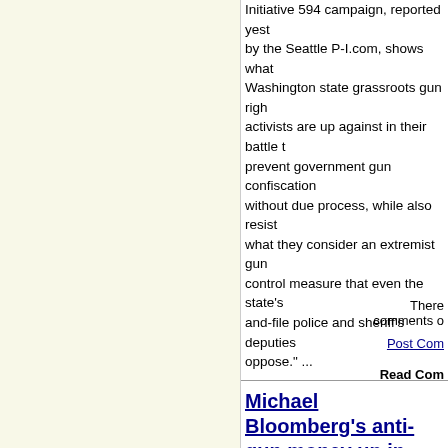Initiative 594 campaign, reported yesterday by the Seattle P-I.com, shows what Washington state grassroots gun rights activists are up against in their battle to prevent government gun confiscation without due process, while also resisting what they consider an extremist gun control measure that even the state's rank-and-file police and sheriff's deputies oppose." ...
Michael Bloomberg's anti-gun money up in smoke as pro-gun sheriff wins in Wisconsin
Submitted by: Bruce W. Krafft
Website: http://www.keepandbeararms.com/
"A pro-gun incumbent sheriff in Milwaukee County, Wisconsin, beat back the anti-gun money of former New York City Mayor Michael Bloomberg to win his primary